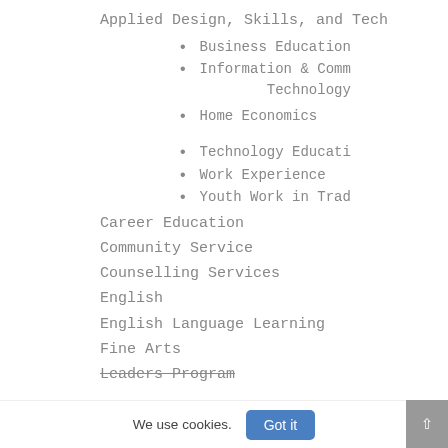Applied Design, Skills, and Tech
Business Education
Information & Comm Technology
Home Economics
Technology Educati
Work Experience
Youth Work in Trad
Career Education
Community Service
Counselling Services
English
English Language Learning
Fine Arts
Leaders Program
We use cookies.
Got it